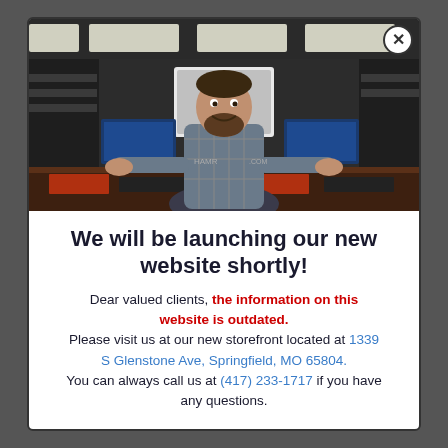[Figure (photo): A man in a plaid shirt standing at a tech store counter with computer equipment, monitors, and electronics visible around him. The store has overhead lighting and shelving with hardware components.]
We will be launching our new website shortly!
Dear valued clients, the information on this website is outdated. Please visit us at our new storefront located at 1339 S Glenstone Ave, Springfield, MO 65804. You can always call us at (417) 233-1717 if you have any questions.